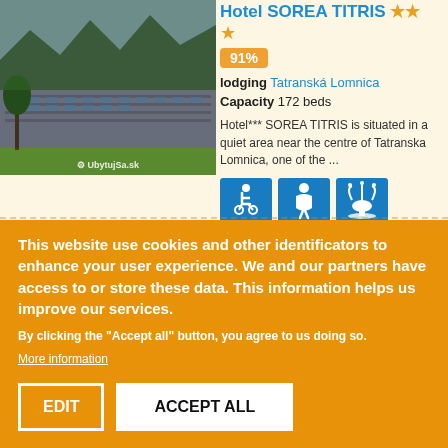[Figure (photo): Exterior photograph of Hotel SOREA TITRIS showing a multi-story building with green lawn and trees, watermarked with UbytujSa.sk logo]
Hotel SOREA TITRIS ★★★
91%
lodging Tatranská Lomnica
Capacity 172 beds
Hotel*** SOREA TITRIS is situated in a quiet area near the centre of Tatranska Lomnica, one of the ...
[Figure (infographic): Three blue amenity icons: wheelchair accessibility, baby/child facilities, and spa/wellness]
This website use cookies and other identificators to enhance your user experience. We and our partners have access to or store these data. This information helps us improve our services.
By clicking the "Accept all" button, you agree to us doing so.
More information
EDIT
ACCEPT ALL